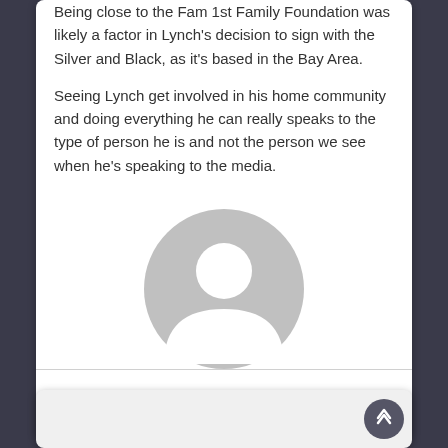Being close to the Fam 1st Family Foundation was likely a factor in Lynch's decision to sign with the Silver and Black, as it's based in the Bay Area.
Seeing Lynch get involved in his home community and doing everything he can really speaks to the type of person he is and not the person we see when he's speaking to the media.
[Figure (illustration): Generic user avatar icon — a grey circle with a white silhouette of a person (head and shoulders)]
admin